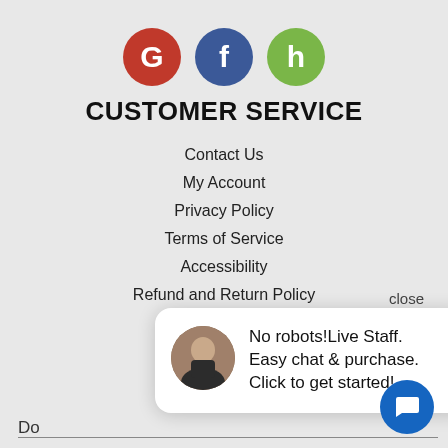[Figure (logo): Three social media/review platform icons: Google (red circle with G), Facebook (blue circle with f), Houzz (green circle with h)]
CUSTOMER SERVICE
Contact Us
My Account
Privacy Policy
Terms of Service
Accessibility
Refund and Return Policy
close
[Figure (infographic): Live chat popup with a photo of a staff member and text: No robots! Live Staff. Easy chat & purchase. Click to get started!]
Do
Welcome to our website! As we have the ability to list over one million items on our website (our selection changes all of the time), it is not feasible for a company our size to record and playback the descriptions on every item on our website. However, if you have a disability we are here to help you. Please call our disability services phone line at 1-800-350-2499 during regular business hours and one of our kind and friendly personal shoppers will help you navigate through our website, help conduct advanced searches, help you